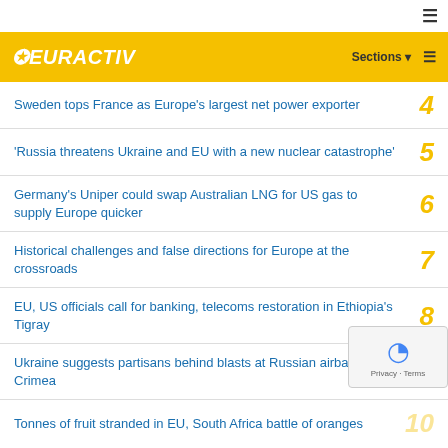EURACTIV — Sections
Sweden tops France as Europe's largest net power exporter
'Russia threatens Ukraine and EU with a new nuclear catastrophe'
Germany's Uniper could swap Australian LNG for US gas to supply Europe quicker
Historical challenges and false directions for Europe at the crossroads
EU, US officials call for banking, telecoms restoration in Ethiopia's Tigray
Ukraine suggests partisans behind blasts at Russian airbase in Crimea
Tonnes of fruit stranded in EU, South Africa battle of oranges